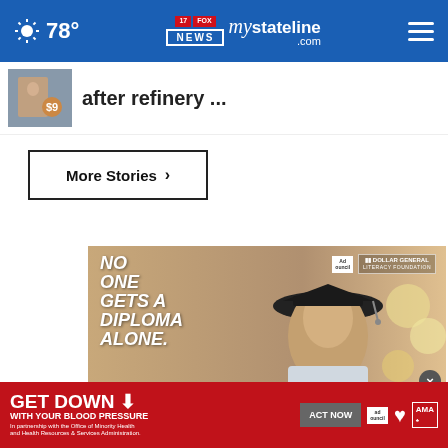78° mystateline.com NEWS
after refinery ...
More Stories ›
[Figure (photo): Advertisement: No one gets a diploma alone. Dollar General Literacy Foundation / Ad Council. Man wearing graduation cap. Find free adult education. Find Free Classes button.]
[Figure (infographic): Advertisement banner: GET DOWN WITH YOUR BLOOD PRESSURE. ACT NOW button. Ad Council, American Heart Association, AMA logos. In partnership with the Office of Minority Health and Health Resources & Services Administration.]